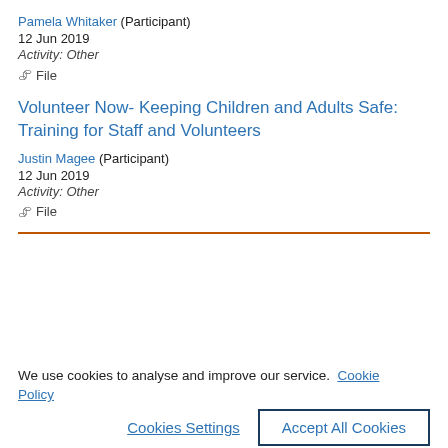Pamela Whitaker (Participant)
12 Jun 2019
Activity: Other
📎 File
Volunteer Now- Keeping Children and Adults Safe: Training for Staff and Volunteers
Justin Magee (Participant)
12 Jun 2019
Activity: Other
📎 File
We use cookies to analyse and improve our service. Cookie Policy
Cookies Settings
Accept All Cookies